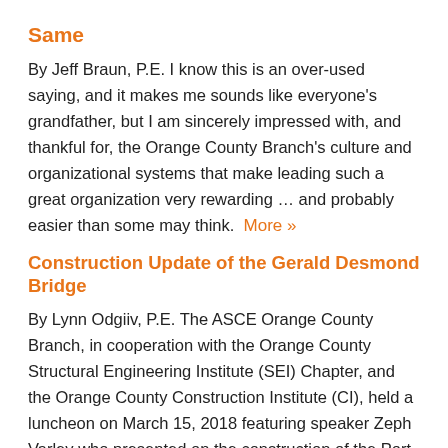Same
By Jeff Braun, P.E. I know this is an over-used saying, and it makes me sounds like everyone's grandfather, but I am sincerely impressed with, and thankful for, the Orange County Branch's culture and organizational systems that make leading such a great organization very rewarding … and probably easier than some may think.  More »
Construction Update of the Gerald Desmond Bridge
By Lynn Odgiiv, P.E. The ASCE Orange County Branch, in cooperation with the Orange County Structural Engineering Institute (SEI) Chapter, and the Orange County Construction Institute (CI), held a luncheon on March 15, 2018 featuring speaker Zeph Varley who presented on the construction of the Port of Long